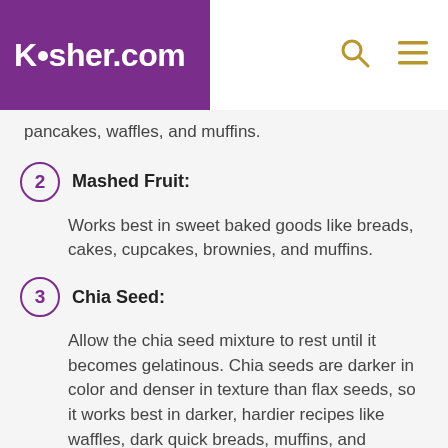Kosher.com
pancakes, waffles, and muffins.
2 Mashed Fruit: Works best in sweet baked goods like breads, cakes, cupcakes, brownies, and muffins.
3 Chia Seed: Allow the chia seed mixture to rest until it becomes gelatinous. Chia seeds are darker in color and denser in texture than flax seeds, so it works best in darker, hardier recipes like waffles, dark quick breads, muffins, and brownies.
4 Nut Butters: